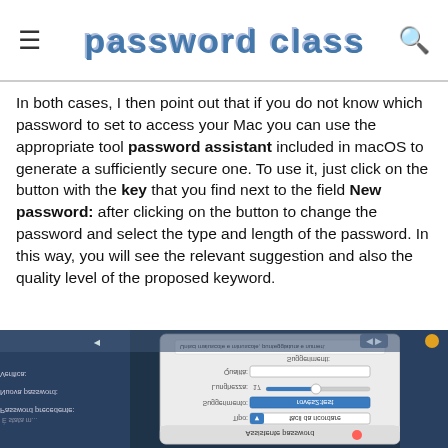password class
In both cases, I then point out that if you do not know which password to set to access your Mac you can use the appropriate tool password assistant included in macOS to generate a sufficiently secure one. To use it, just click on the button with the key that you find next to the field New password: after clicking on the button to change the password and select the type and length of the password. In this way, you will see the relevant suggestion and also the quality level of the proposed keyword.
[Figure (screenshot): Screenshot of macOS Password Assistant dialog box overlaid on a Mac system preferences window, showing fields for Type, Suggestion, Length, Quality, and Suggestion text, displayed upside-down against a dark blue background.]